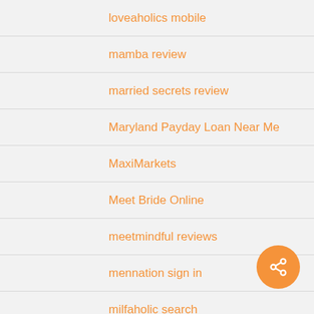loveaholics mobile
mamba review
married secrets review
Maryland Payday Loan Near Me
MaxiMarkets
Meet Bride Online
meetmindful reviews
mennation sign in
milfaholic search
Muscle XXX Cam Chat Rooms